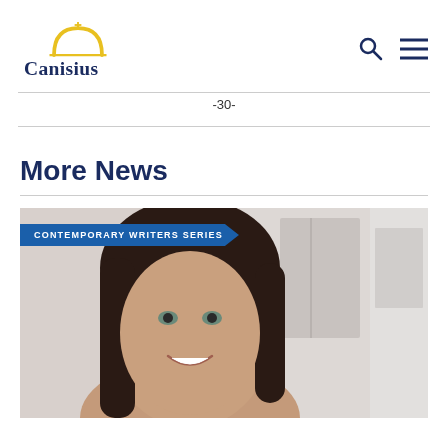Canisius
-30-
More News
[Figure (photo): Photo of a woman with dark hair smiling, with a blue banner overlay reading 'CONTEMPORARY WRITERS SERIES']